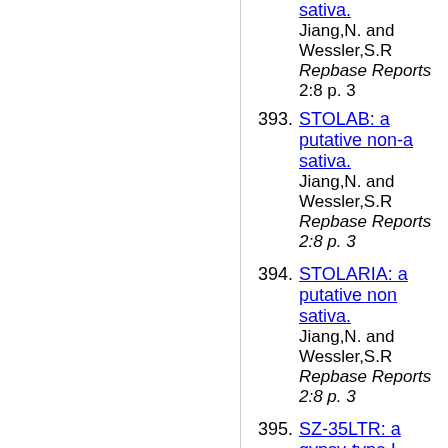(fragment) sativa. Jiang,N. and Wessler,S.R. Repbase Reports 2:8 p. 3
393. STOLAB: a putative non-a... sativa. Jiang,N. and Wessler,S.R. Repbase Reports 2:8 p. 3
394. STOLARIA: a putative non... sativa. Jiang,N. and Wessler,S.R. Repbase Reports 2:8 p. 3
395. SZ-35LTR: a gypsy-type L... Jiang,N. and Wessler,S.R. Repbase Reports 2:8 p. 3
396. SZ-44LTR: LTR from Oryz... Jiang,N. and Wessler,S.R. Repbase Reports 2:8 p. 3
397. SZ-48LTR: LTR from Oryz... Jiang,N. and Wessler,S.R. Repbase Reports 2:8 p. 3